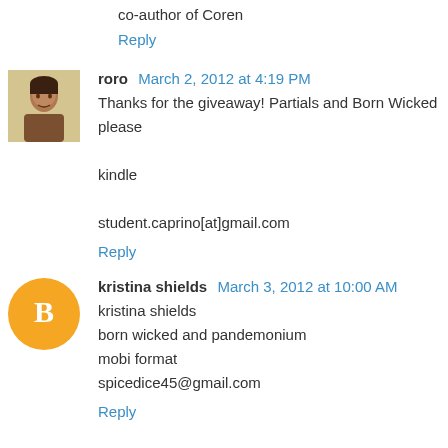co-author of Coren
Reply
roro  March 2, 2012 at 4:19 PM
Thanks for the giveaway! Partials and Born Wicked please

kindle

student.caprino[at]gmail.com
Reply
kristina shields  March 3, 2012 at 10:00 AM
kristina shields
born wicked and pandemonium
mobi format
spicedice45@gmail.com
Reply